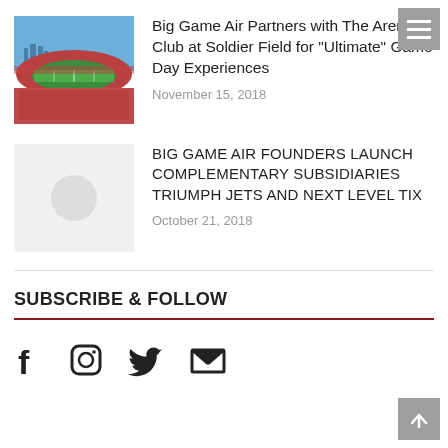Big Game Air Partners with The Arena Club at Soldier Field for “Ultimate” Game Day Experiences
November 15, 2018
BIG GAME AIR FOUNDERS LAUNCH COMPLEMENTARY SUBSIDIARIES TRIUMPH JETS AND NEXT LEVEL TIX
October 21, 2018
SUBSCRIBE & FOLLOW